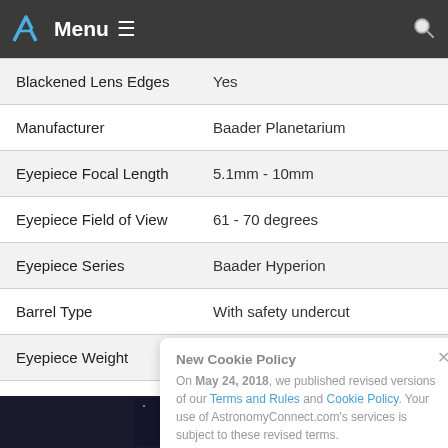Menu
| Property | Value |
| --- | --- |
| Blackened Lens Edges | Yes |
| Manufacturer | Baader Planetarium |
| Eyepiece Focal Length | 5.1mm - 10mm |
| Eyepiece Field of View | 61 - 70 degrees |
| Eyepiece Series | Baader Hyperion |
| Barrel Type | With safety undercut |
| Eyepiece Weight | 13.10oz (371.38g) |
New Cookie Policy
On May 24, 2018, we published revised versions of our Terms and Rules and Cookie Policy. Your use of AstronomyConnect.com's services is subject to these revised terms.
[Figure (photo): Dark background with blue astronomical/logo imagery at bottom of page]